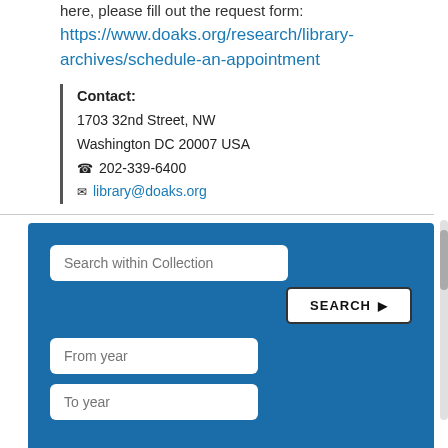here, please fill out the request form:
https://www.doaks.org/research/library-archives/schedule-an-appointment
Contact:
1703 32nd Street, NW
Washington DC 20007 USA
☎ 202-339-6400
✉ library@doaks.org
[Figure (screenshot): Search within Collection form with search input box, SEARCH button, From year and To year input fields on a blue background]
COLLECTION ORGANIZATION